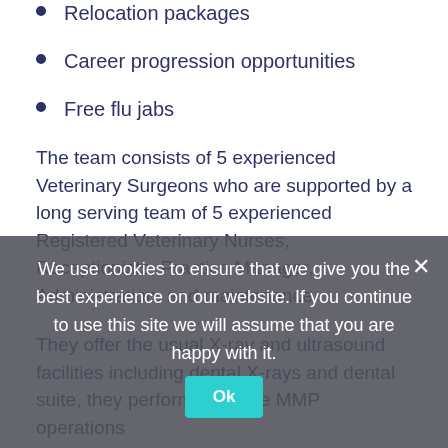Relocation packages
Career progression opportunities
Free flu jabs
The team consists of 5 experienced Veterinary Surgeons who are supported by a long serving team of 5 experienced Registered Veterinary Nurses, Receptionists, Practice Manager, Administration, and maintenance.
They offer the usual X-ray and ultrasound facilities including dental X-rays and dental suite, they perform in house MMP operations and have separate cat and dog wards. Their aim is to provide their clients with the best service and care.
If you would like to apply for this position, please submit your CV and Cover Letter to jthampsone@glcets.com or call Joel
We use cookies to ensure that we give you the best experience on our website. If you continue to use this site we will assume that you are happy with it.